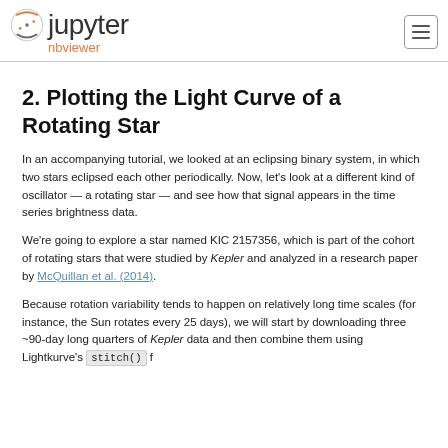Jupyter nbviewer
2. Plotting the Light Curve of a Rotating Star
In an accompanying tutorial, we looked at an eclipsing binary system, in which two stars eclipsed each other periodically. Now, let's look at a different kind of oscillator — a rotating star — and see how that signal appears in the time series brightness data.
We're going to explore a star named KIC 2157356, which is part of the cohort of rotating stars that were studied by Kepler and analyzed in a research paper by McQuillan et al. (2014).
Because rotation variability tends to happen on relatively long time scales (for instance, the Sun rotates every 25 days), we will start by downloading three ~90-day long quarters of Kepler data and then combine them using Lightkurve's stitch() f...